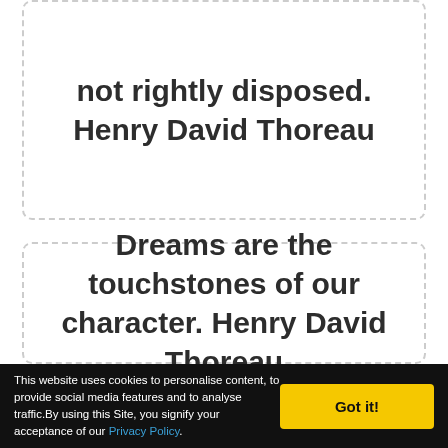not rightly disposed. Henry David Thoreau
Dreams are the touchstones of our character. Henry David Thoreau
This website uses cookies to personalise content, to provide social media features and to analyse traffic.By using this Site, you signify your acceptance of our Privacy Policy. Got it!